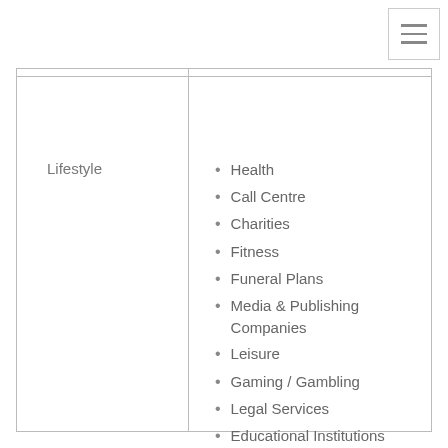[Figure (other): Hamburger menu icon (three horizontal lines) in top-right corner, bordered box]
| Category | Sub-categories |
| --- | --- |
| Lifestyle | Health, Call Centre, Charities, Fitness, Funeral Plans, Media & Publishing Companies, Leisure, Gaming / Gambling, Legal Services, Educational Institutions, Government, Market Research |